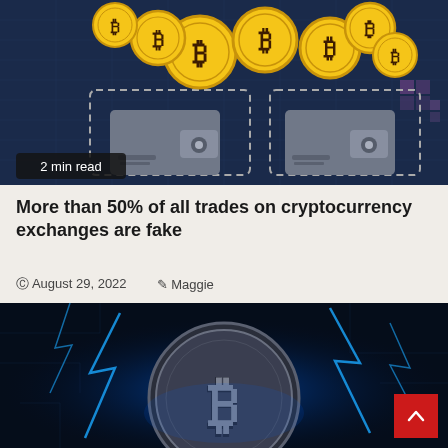[Figure (illustration): Illustration of multiple golden Bitcoin coins floating above two grey digital wallets on a dark blue tech-grid background. A '2 min read' badge is overlaid in the bottom-left corner.]
More than 50% of all trades on cryptocurrency exchanges are fake
© August 29, 2022   ✎ Maggie
[Figure (photo): Photo of a large silver Bitcoin coin with the Bitcoin 'B' symbol, surrounded by blue electric lightning bolts on a dark background. A red scroll-to-top button with a white upward chevron is overlaid in the bottom-right corner.]